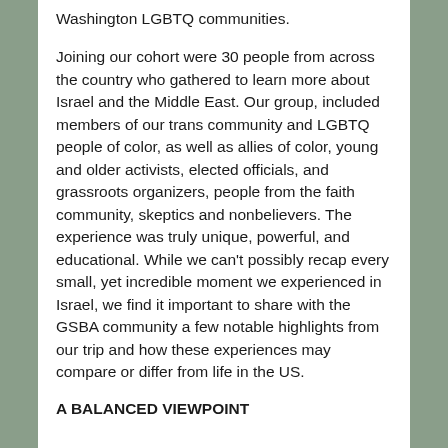Washington LGBTQ communities.
Joining our cohort were 30 people from across the country who gathered to learn more about Israel and the Middle East. Our group, included members of our trans community and LGBTQ people of color, as well as allies of color, young and older activists, elected officials, and grassroots organizers, people from the faith community, skeptics and nonbelievers. The experience was truly unique, powerful, and educational. While we can't possibly recap every small, yet incredible moment we experienced in Israel, we find it important to share with the GSBA community a few notable highlights from our trip and how these experiences may compare or differ from life in the US.
A BALANCED VIEWPOINT